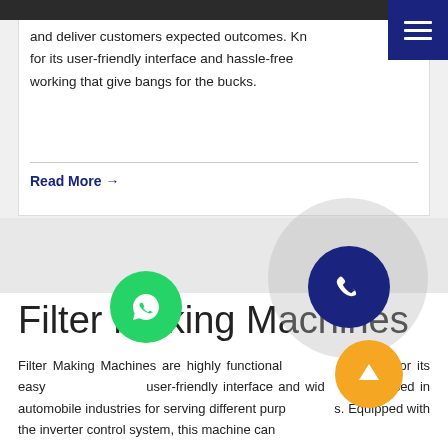and deliver customers expected outcomes. Kn for its user-friendly interface and hassle-free working that give bangs for the bucks.
Read More →
Filter Making Machines
Filter Making Machines are highly functional for its easy user-friendly interface and wide used in automobile industries for serving different purposes. Equipped with the inverter control system, this machine can